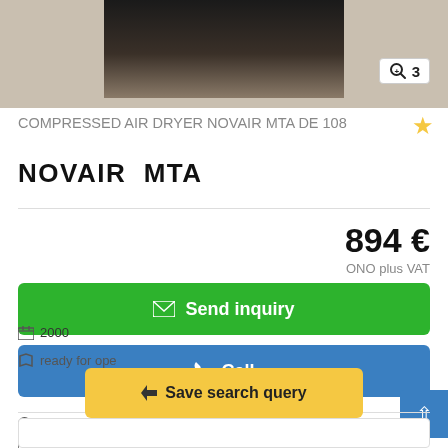[Figure (photo): Product photo of compressed air dryer equipment, dark colored machine on a surface]
COMPRESSED AIR DRYER NOVAIR MTA DE 108
NOVAIR  MTA
894 €
ONO plus VAT
✉ Send inquiry
📞 Call
C. Olivo, 50171, Zaragoza, España 🇪🇸
6290 km
2000
ready for ope
Save search query